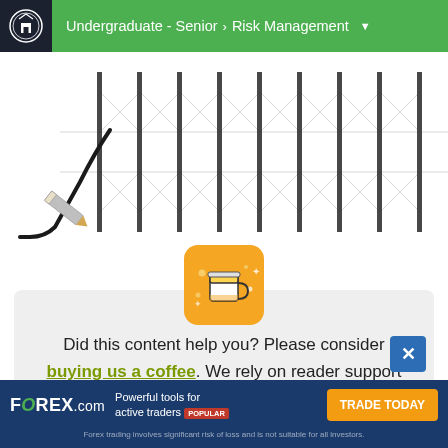Undergraduate - Senior > Risk Management
[Figure (illustration): Educational diagram showing a curved line (graph or chart element) intersecting with a grid pattern of diagonal crosses and vertical/horizontal lines on a white background.]
[Figure (illustration): Orange rounded square icon with a coffee cup illustration with sparkles/dots around it.]
Did this content help you? Please consider buying us a coffee. We rely on reader support and your contribution will enable us to keep providing content — for free — to you and others.
FOREX.com Powerful tools for active traders POPULAR TRADE TODAY Forex trading involves significant risk of loss and is not suitable for all investors.